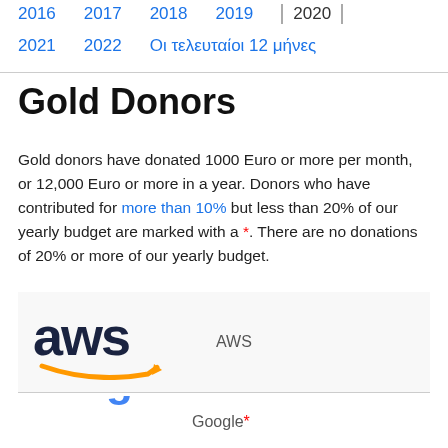2016  2017  2018  2019  2020
2021  2022  Οι τελευταίοι 12 μήνες
Gold Donors
Gold donors have donated 1000 Euro or more per month, or 12,000 Euro or more in a year. Donors who have contributed for more than 10% but less than 20% of our yearly budget are marked with a *. There are no donations of 20% or more of our yearly budget.
[Figure (logo): AWS logo with orange smile arrow]
AWS
[Figure (logo): Google logo in multicolor letters]
Google*